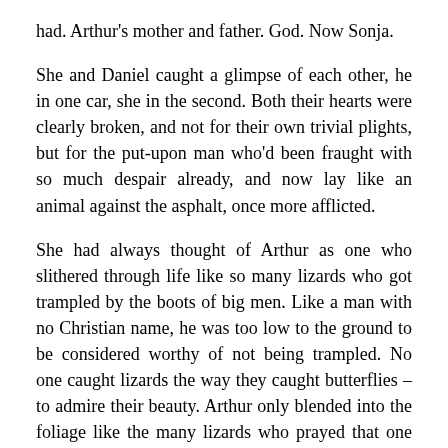had.  Arthur's mother and father.  God.  Now Sonja.
She and Daniel caught a glimpse of each other, he in one car, she in the second.  Both their hearts were clearly broken, and not for their own trivial plights, but for the put-upon man who'd been fraught with so much despair already, and now lay like an animal against the asphalt, once more afflicted.
She had always thought of Arthur as one who slithered through life like so many lizards who got trampled by the boots of big men.  Like a man with no Christian name, he was too low to the ground to be considered worthy of not being trampled.  No one caught lizards the way they caught butterflies – to admire their beauty.  Arthur only blended into the foliage like the many lizards who prayed that one more day might be theirs without being stomped